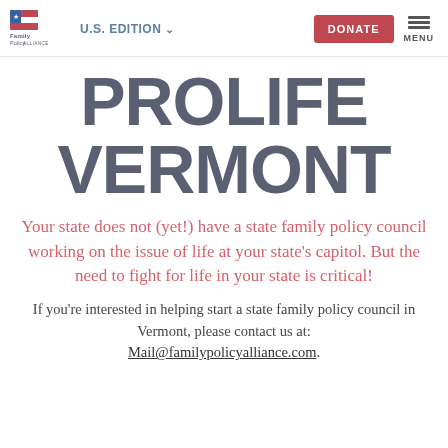Family Policy Alliance | U.S. EDITION | DONATE | MENU
PROLIFE VERMONT
Your state does not (yet!) have a state family policy council working on the issue of life at your state's capitol. But the need to fight for life in your state is critical!
If you're interested in helping start a state family policy council in Vermont, please contact us at: Mail@familypolicyalliance.com.